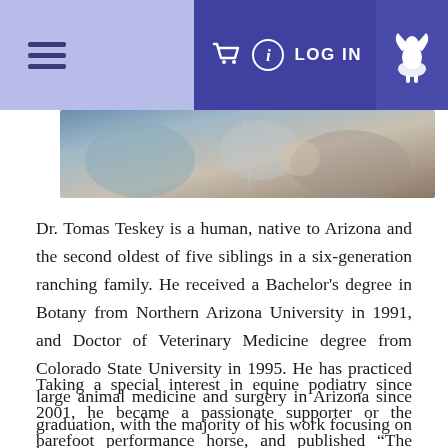Navigation bar with hamburger menu, cart, info, LOG IN, and logo
[Figure (photo): Cropped photo showing close-up of hands, blurred background with blue and neutral tones]
Dr. Tomas Teskey is a human, native to Arizona and the second oldest of five siblings in a six-generation ranching family. He received a Bachelor's degree in Botany from Northern Arizona University in 1991, and Doctor of Veterinary Medicine degree from Colorado State University in 1995. He has practiced large animal medicine and surgery in Arizona since graduation, with the majority of his work focusing on horses.
Taking a special interest in equine podiatry since 2001, he became a passionate supporter or the barefoot performance horse, and published “The Unfettered Foot, A Paradigm Change for Equine